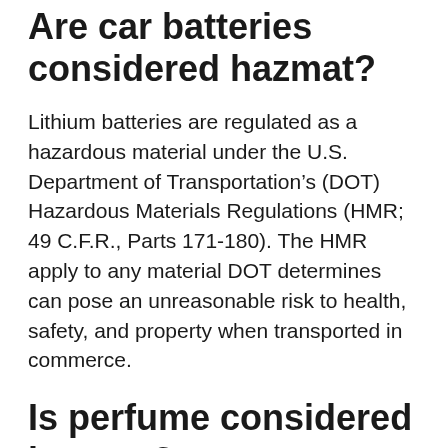Are car batteries considered hazmat?
Lithium batteries are regulated as a hazardous material under the U.S. Department of Transportation’s (DOT) Hazardous Materials Regulations (HMR; 49 C.F.R., Parts 171-180). The HMR apply to any material DOT determines can pose an unreasonable risk to health, safety, and property when transported in commerce.
Is perfume considered hazmat?
Fragrances: Any alcohol-based perfumes, colognes and aftershaves fall under Hazmat Class 3 since they are flammable liquids.